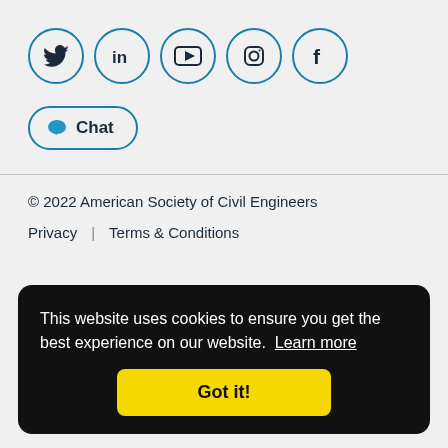[Figure (other): Row of five social media icons in circles: Twitter, LinkedIn, YouTube, Instagram, Facebook]
Chat
© 2022 American Society of Civil Engineers
Privacy | Terms & Conditions
This website uses cookies to ensure you get the best experience on our website. Learn more
Got it!